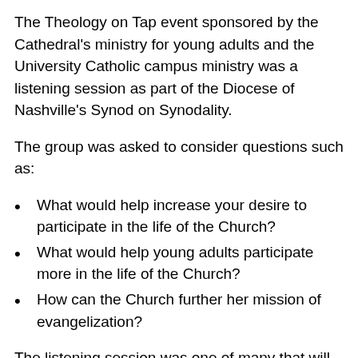The Theology on Tap event sponsored by the Cathedral's ministry for young adults and the University Catholic campus ministry was a listening session as part of the Diocese of Nashville's Synod on Synodality.
The group was asked to consider questions such as:
What would help increase your desire to participate in the life of the Church?
What would help young adults participate more in the life of the Church?
How can the Church further her mission of evangelization?
The listening session was one of many that will be held in the coming months at churches around the diocese as well as with other groups. The discussions are part of a two-year